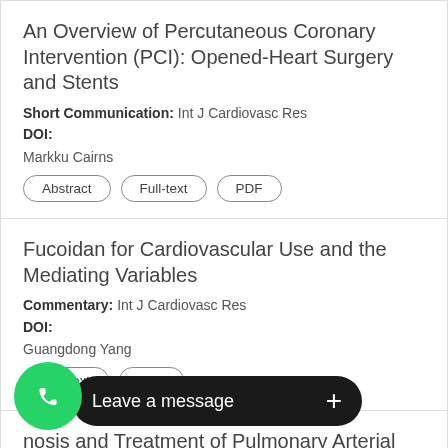An Overview of Percutaneous Coronary Intervention (PCI): Opened-Heart Surgery and Stents
Short Communication: Int J Cardiovasc Res
DOI:
Markku Cairns
Abstract
Full-text
PDF
Fucoidan for Cardiovascular Use and the Mediating Variables
Commentary: Int J Cardiovasc Res
DOI:
Guangdong Yang
Full-text
PDF
nosis and Treatment of Pulmonary Arterial
Edito
DOI:
[Figure (screenshot): WhatsApp chat overlay with green phone icon and 'Leave a message +' dark bar]